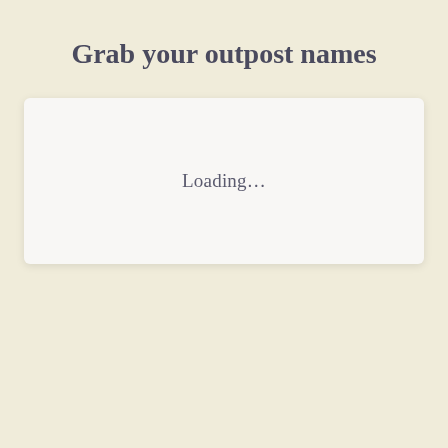Grab your outpost names
Loading...